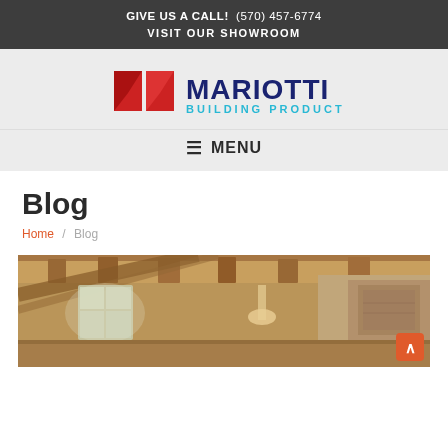GIVE US A CALL! (570) 457-6774
VISIT OUR SHOWROOM
[Figure (logo): Mariotti Building Products logo with red book/M icon and navy/cyan text]
☰ MENU
Blog
Home / Blog
[Figure (photo): Interior room with wood beam ceiling, warm lighting, windows with natural light, rustic cabin-style decor]